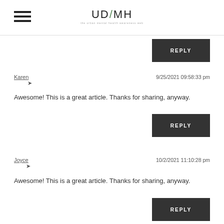UD/MH
REPLY
Karen  9/25/2021 09:58:33 pm
Awesome! This is a great article. Thanks for sharing, anyway.
REPLY
Joyce  10/2/2021 11:10:28 pm
Awesome! This is a great article. Thanks for sharing, anyway.
REPLY